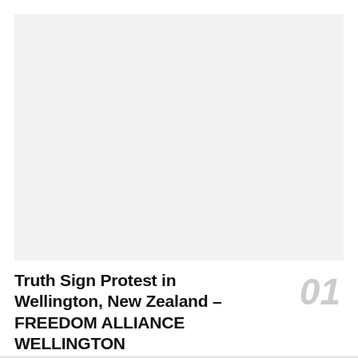[Figure (photo): A light gray placeholder image area representing a photo related to a Truth Sign Protest in Wellington, New Zealand.]
Truth Sign Protest in Wellington, New Zealand – FREEDOM ALLIANCE WELLINGTON
0 SHARES